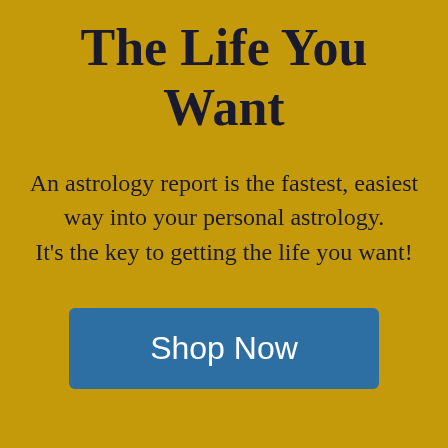The Life You Want
An astrology report is the fastest, easiest way into your personal astrology. It's the key to getting the life you want!
Shop Now